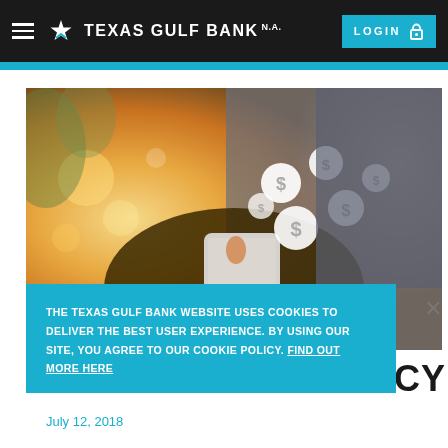Texas Gulf Bank N.A. — LOGIN
[Figure (photo): Person holding a smartphone with floating dollar sign coin icons above it, warm bokeh background with sunlight]
THE TEXAS GULF BANK WEBSITE USES COOKIES TO DELIVER THE BEST USER EXPERIENCE. BY USING OUR SITE, YOU AGREE TO OUR COOKIE POLICY. FIND OUT MORE HERE
July 12, 2018